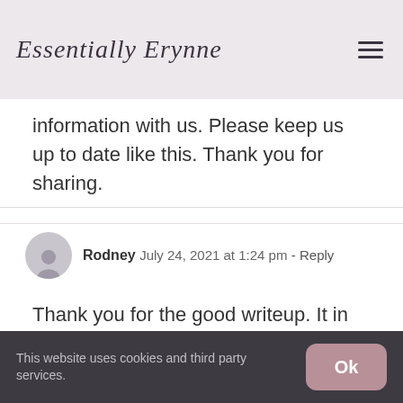Essentially Erynne
information with us. Please keep us up to date like this. Thank you for sharing.
Rodney  July 24, 2021 at 1:24 pm - Reply
Thank you for the good writeup. It in truth was once a enjoyment account it.
This website uses cookies and third party services.